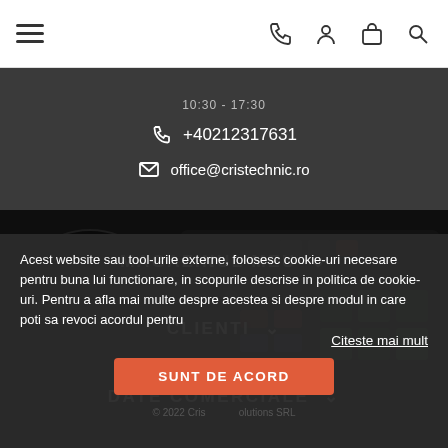Navigation bar with hamburger menu, phone, user, cart, and search icons
10:30 - 17:30
+40212317631
office@cristechnic.ro
[Figure (photo): DJ controller equipment with colorful buttons (green, red, blue) and vinyl record, dark background]
MAGAZINUL MEU
CLIENTI
DATE COMERCIALE
Acest website sau tool-urile externe, folosesc cookie-uri necesare pentru buna lui functionare, in scopurile descrise in politica de cookie-uri. Pentru a afla mai multe despre acestea si despre modul in care poti sa revoci acordul pentru
Citeste mai mult
SUNT DE ACORD